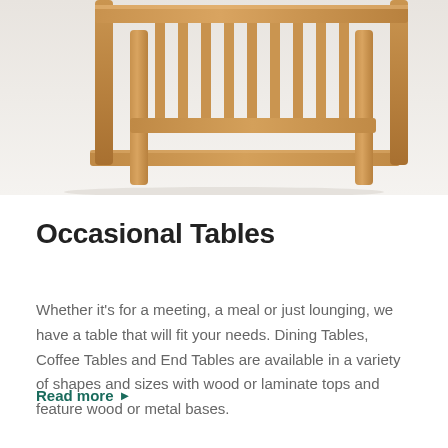[Figure (photo): Partial view of a wooden occasional table with Mission-style slat back detail, light natural oak finish, photographed against a white/light grey background.]
Occasional Tables
Whether it's for a meeting, a meal or just lounging, we have a table that will fit your needs. Dining Tables, Coffee Tables and End Tables are available in a variety of shapes and sizes with wood or laminate tops and feature wood or metal bases.
Read more ▶